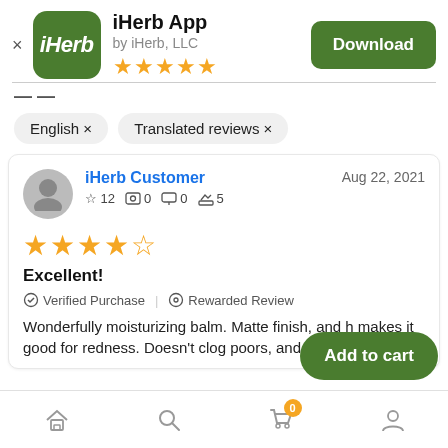[Figure (screenshot): iHerb app icon - green rounded square with white italic iHerb text]
iHerb App
by iHerb, LLC
[Figure (other): Five golden stars rating]
Download
English ×
Translated reviews ×
iHerb Customer
Aug 22, 2021
☆ 12   📷 0   💬 0   👍 5
[Figure (other): Four golden stars rating for review]
Excellent!
✓ Verified Purchase  |  ⊙ Rewarded Review
Wonderfully moisturizing balm. Matte finish, and h makes it good for redness. Doesn't clog poors, and ingredients
Add to cart